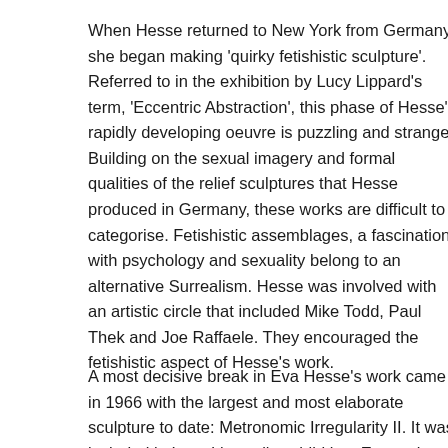When Hesse returned to New York from Germany she began making 'quirky fetishistic sculpture'. Referred to in the exhibition by Lucy Lippard's term, 'Eccentric Abstraction', this phase of Hesse's rapidly developing oeuvre is puzzling and strange. Building on the sexual imagery and formal qualities of the relief sculptures that Hesse produced in Germany, these works are difficult to categorise. Fetishistic assemblages, a fascination with psychology and sexuality belong to an alternative Surrealism. Hesse was involved with an artistic circle that included Mike Todd, Paul Thek and Joe Raffaele. They encouraged the fetishistic aspect of Hesse's work.
A most decisive break in Eva Hesse's work came in 1966 with the largest and most elaborate sculpture to date: Metronomic Irregularity II. It was included in Lucy Lippard's exhibition, Eccentric Abstraction at the Fishbach Gallery, New York.
Based on a smaller two-panel study Metronomic Irregularity I, it consisted of three four-foot wooden squares hung at equal